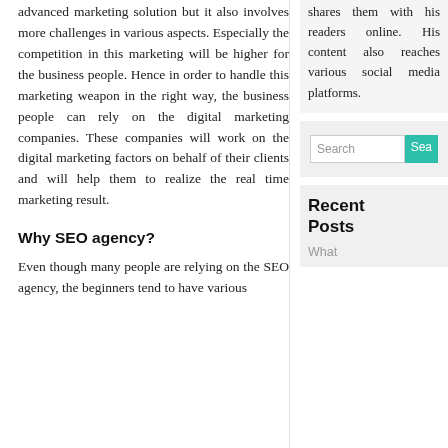advanced marketing solution but it also involves more challenges in various aspects. Especially the competition in this marketing will be higher for the business people. Hence in order to handle this marketing weapon in the right way, the business people can rely on the digital marketing companies. These companies will work on the digital marketing factors on behalf of their clients and will help them to realize the real time marketing result.
Why SEO agency?
Even though many people are relying on the SEO agency, the beginners tend to have various
shares them with his readers online. His content also reaches various social media platforms.
Search
Recent Posts
What